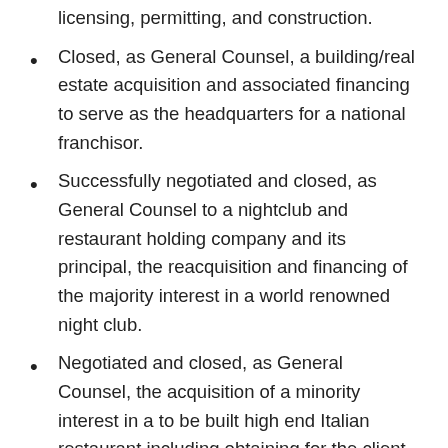acquisition of a right club including leasing, licensing, permitting, and construction.
Closed, as General Counsel, a building/real estate acquisition and associated financing to serve as the headquarters for a national franchisor.
Successfully negotiated and closed, as General Counsel to a nightclub and restaurant holding company and its principal, the reacquisition and financing of the majority interest in a world renowned night club.
Negotiated and closed, as General Counsel, the acquisition of a minority interest in a to be built high end Italian restaurant including obtaining for the client an approved lease transfer, entitlement payments, and entity governance protections.
Closed international exclusive distribution